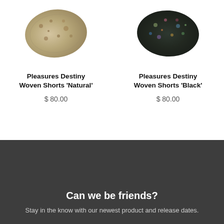[Figure (photo): Two product images side by side: left shows Pleasures Destiny Woven Shorts in Natural color (tan/beige floral pattern), right shows Pleasures Destiny Woven Shorts in Black (dark floral pattern). Gray color swatch at top-left corner, dark swatch at top-right corner.]
Pleasures Destiny Woven Shorts 'Natural'
$ 80.00
Pleasures Destiny Woven Shorts 'Black'
$ 80.00
Can we be friends?
Stay in the know with our newest product and release dates.